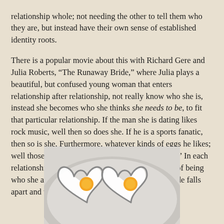relationship whole; not needing the other to tell them who they are, but instead have their own sense of established identity roots.

There is a popular movie about this with Richard Gere and Julia Roberts, “The Runaway Bride,” where Julia plays a beautiful, but confused young woman that enters relationship after relationship, not really know who she is, instead she becomes who she thinks she needs to be, to fit that particular relationship. If the man she is dating likes rock music, well then so does she. If he is a sports fanatic, then so is she. Furthermore, whatever kinds of eggs he likes; well those become the kind of eggs that she “likes.” In each relationship, she tries to be who he wants, instead of being who she actually is, and as a consequence the facade falls apart and the relationship unravels.
[Figure (photo): Two heart-shaped fried eggs in metal heart-shaped molds on a white plate, viewed from above.]